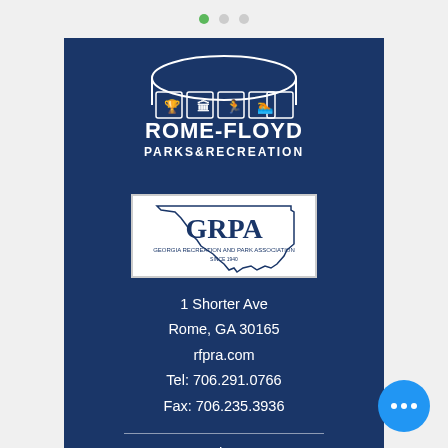[Figure (logo): Rome-Floyd Parks & Recreation logo — white illustration of a building with activity icons, text reads ROME-FLOYD PARKS&RECREATION]
[Figure (logo): GRPA — Georgia Recreation and Park Association logo, white background with navy text and state outline]
1 Shorter Ave
Rome, GA 30165
rfpra.com
Tel: 706.291.0766
Fax: 706.235.3936
Navigate:
Home
Register
Facilities
Events